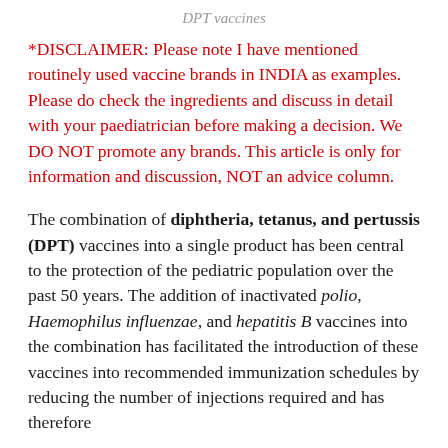DPT vaccines
*DISCLAIMER: Please note I have mentioned routinely used vaccine brands in INDIA as examples. Please do check the ingredients and discuss in detail with your paediatrician before making a decision. We DO NOT promote any brands. This article is only for information and discussion, NOT an advice column.
The combination of diphtheria, tetanus, and pertussis (DPT) vaccines into a single product has been central to the protection of the pediatric population over the past 50 years. The addition of inactivated polio, Haemophilus influenzae, and hepatitis B vaccines into the combination has facilitated the introduction of these vaccines into recommended immunization schedules by reducing the number of injections required and has therefore